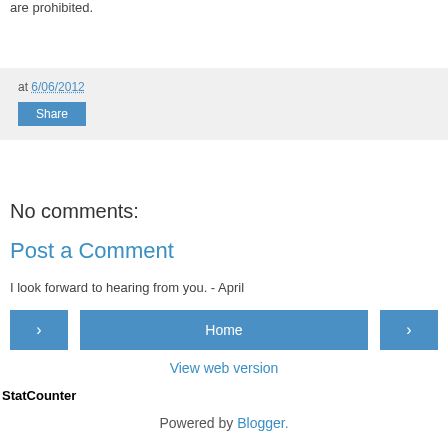are prohibited.
at 6/06/2012
Share
No comments:
Post a Comment
I look forward to hearing from you. - April
< Home >
View web version
StatCounter
Powered by Blogger.